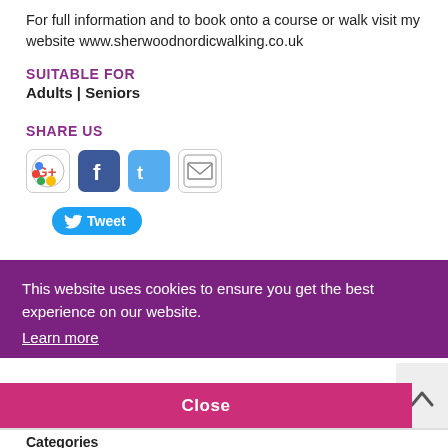For full information and to book onto a course or walk visit my website www.sherwoodnordicwalking.co.uk
SUITABLE FOR
Adults | Seniors
SHARE US
[Figure (infographic): Four social share icons: Google+, Facebook, Twitter, Email]
[Figure (infographic): Tweet button with Twitter bird icon]
This website uses cookies to ensure you get the best experience on our website.
Learn more
Close
Categories